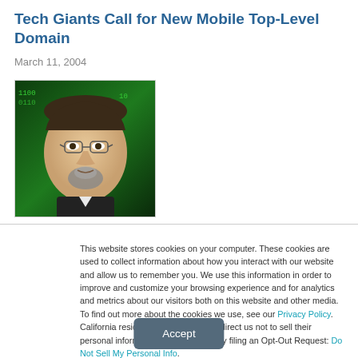Tech Giants Call for New Mobile Top-Level Domain
March 11, 2004
[Figure (photo): Headshot of a middle-aged man with glasses and a goatee, against a green digital/matrix background]
This website stores cookies on your computer. These cookies are used to collect information about how you interact with our website and allow us to remember you. We use this information in order to improve and customize your browsing experience and for analytics and metrics about our visitors both on this website and other media. To find out more about the cookies we use, see our Privacy Policy. California residents have the right to direct us not to sell their personal information to third parties by filing an Opt-Out Request: Do Not Sell My Personal Info.
Accept